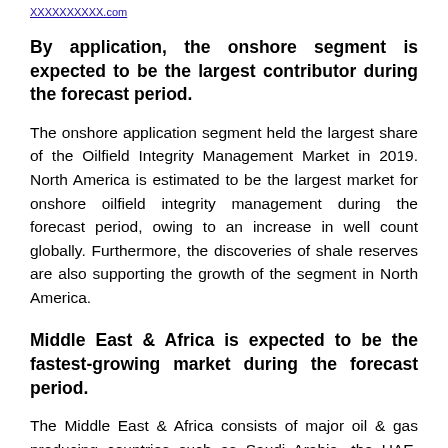XXXXXXXXXX.com
By application, the onshore segment is expected to be the largest contributor during the forecast period.
The onshore application segment held the largest share of the Oilfield Integrity Management Market in 2019. North America is estimated to be the largest market for onshore oilfield integrity management during the forecast period, owing to an increase in well count globally. Furthermore, the discoveries of shale reserves are also supporting the growth of the segment in North America.
Middle East & Africa is expected to be the fastest-growing market during the forecast period.
The Middle East & Africa consists of major oil & gas producing countries such as Saudi Arabia, the UAE, Kuwait, Iraq, and Iran, which have some of the largest petroleum